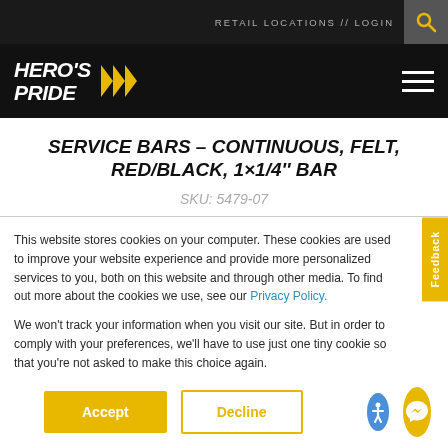RETAIL LOCATIONS // LOGIN
[Figure (logo): Hero's Pride logo with yellow chevrons on black background]
SERVICE BARS - CONTINUOUS, FELT, RED/BLACK, 1x1/4'' BAR
SKU: 5479-07
This website stores cookies on your computer. These cookies are used to improve your website experience and provide more personalized services to you, both on this website and through other media. To find out more about the cookies we use, see our Privacy Policy.
We won't track your information when you visit our site. But in order to comply with your preferences, we'll have to use just one tiny cookie so that you're not asked to make this choice again.